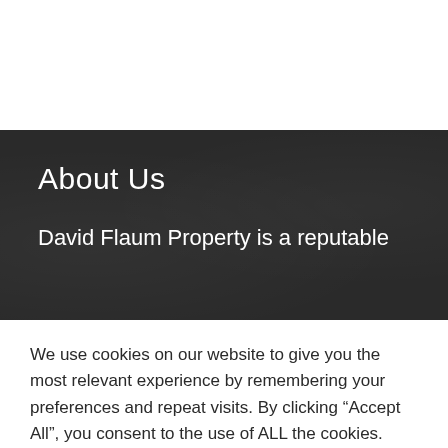About Us
David Flaum Property is a reputable
We use cookies on our website to give you the most relevant experience by remembering your preferences and repeat visits. By clicking “Accept All”, you consent to the use of ALL the cookies. However, you may visit "Cookie Settings" to provide a controlled consent.